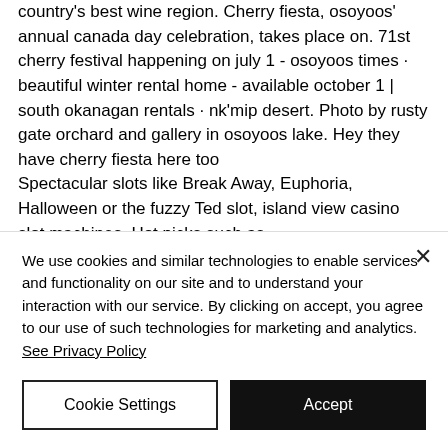Osoyoos is canada's only desert in the country's best wine region. Cherry fiesta, osoyoos' annual canada day celebration, takes place on. 71st cherry festival happening on july 1 - osoyoos times · beautiful winter rental home - available october 1 | south okanagan rentals · nk'mip desert. Photo by rusty gate orchard and gallery in osoyoos lake. Hey they have cherry fiesta here too Spectacular slots like Break Away, Euphoria, Halloween or the fuzzy Ted slot, island view casino slot machines. Hot picks such as
We use cookies and similar technologies to enable services and functionality on our site and to understand your interaction with our service. By clicking on accept, you agree to our use of such technologies for marketing and analytics. See Privacy Policy
Cookie Settings
Accept